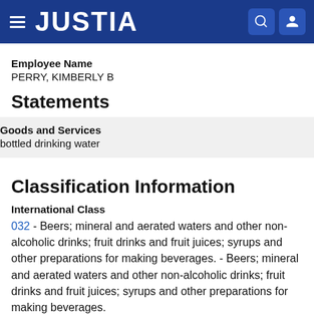JUSTIA
Employee Name
PERRY, KIMBERLY B
Statements
Goods and Services
bottled drinking water
Classification Information
International Class
032 - Beers; mineral and aerated waters and other non-alcoholic drinks; fruit drinks and fruit juices; syrups and other preparations for making beverages. - Beers; mineral and aerated waters and other non-alcoholic drinks; fruit drinks and fruit juices; syrups and other preparations for making beverages.